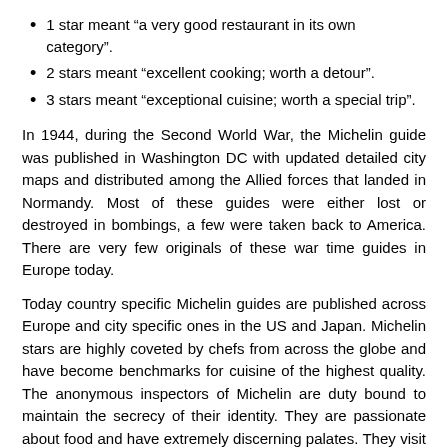1 star meant “a very good restaurant in its own category”.
2 stars meant “excellent cooking; worth a detour”.
3 stars meant “exceptional cuisine; worth a special trip”.
In 1944, during the Second World War, the Michelin guide was published in Washington DC with updated detailed city maps and distributed among the Allied forces that landed in Normandy. Most of these guides were either lost or destroyed in bombings, a few were taken back to America. There are very few originals of these war time guides in Europe today.
Today country specific Michelin guides are published across Europe and city specific ones in the US and Japan. Michelin stars are highly coveted by chefs from across the globe and have become benchmarks for cuisine of the highest quality. The anonymous inspectors of Michelin are duty bound to maintain the secrecy of their identity. They are passionate about food and have extremely discerning palates. They visit restaurants as ordinary diners, sometimes several times, before they decide on the number of stars that should be accorded to it. They concentrate on the quality and consistency of the food served and the mastery of techniques of the chef. The décor, table setting and ambiance is not under consideration. Michelin starred restaurants are considered in a class